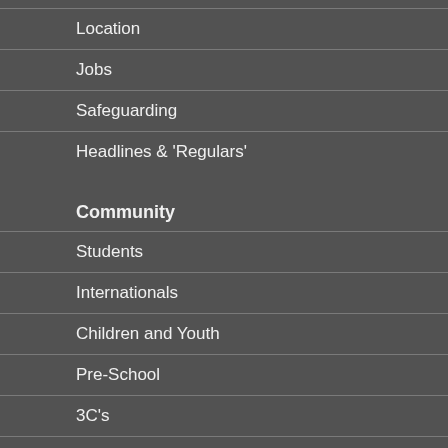Location
Jobs
Safeguarding
Headlines & 'Regulars'
Community
Students
Internationals
Children and Youth
Pre-School
3C's
Sport
Faith